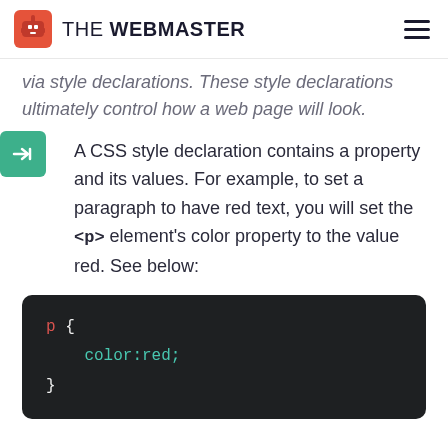THE WEBMASTER
via style declarations. These style declarations ultimately control how a web page will look.
A CSS style declaration contains a property and its values. For example, to set a paragraph to have red text, you will set the <p> element's color property to the value red. See below:
[Figure (screenshot): Code block on dark background showing CSS: p { color:red; }]